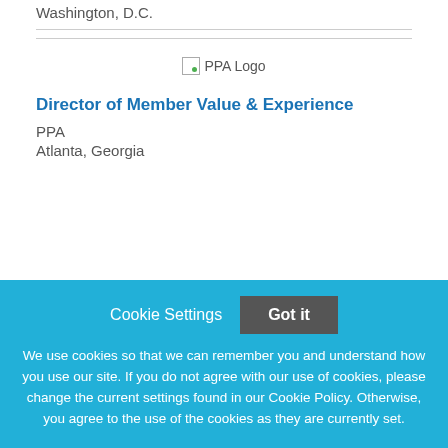Washington, D.C.
[Figure (logo): PPA Logo placeholder image]
Director of Member Value & Experience
PPA
Atlanta, Georgia
Cookie Settings  Got it
We use cookies so that we can remember you and understand how you use our site. If you do not agree with our use of cookies, please change the current settings found in our Cookie Policy. Otherwise, you agree to the use of the cookies as they are currently set.